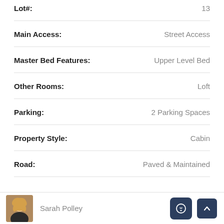| Field | Value |
| --- | --- |
| Lot#: | 13 |
| Main Access: | Street Access |
| Master Bed Features: | Upper Level Bed |
| Other Rooms: | Loft |
| Parking: | 2 Parking Spaces |
| Property Style: | Cabin |
| Road: | Paved & Maintained |
Sarah Polley